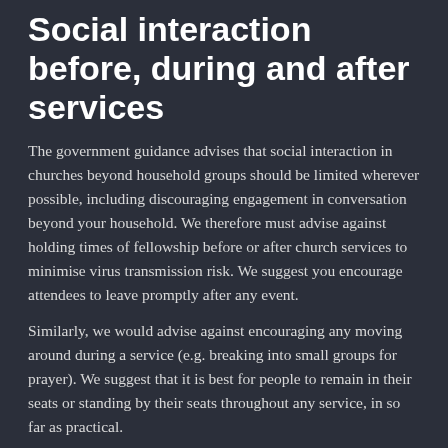Social interaction before, during and after services
The government guidance advises that social interaction in churches beyond household groups should be limited wherever possible, including discouraging engagement in conversation beyond your household.  We therefore must advise against holding times of fellowship before or after church services to minimise virus transmission risk.  We suggest you encourage attendees to leave promptly after any event.
Similarly, we would advise against encouraging any moving around during a service (e.g. breaking into small groups for prayer).  We suggest that it is best for people to remain in their seats or standing by their seats throughout any service, in so far as practical.
Handling multiple services (including tenant congregations)